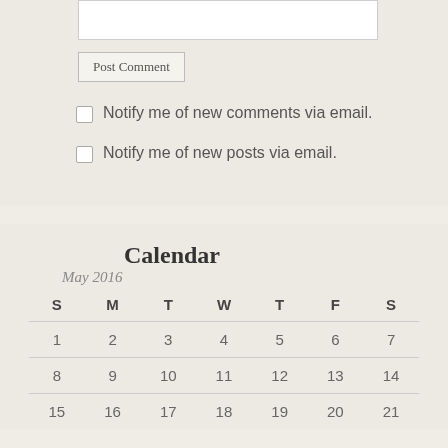[textarea input box]
Post Comment
Notify me of new comments via email.
Notify me of new posts via email.
Calendar
May 2016
| S | M | T | W | T | F | S |
| --- | --- | --- | --- | --- | --- | --- |
| 1 | 2 | 3 | 4 | 5 | 6 | 7 |
| 8 | 9 | 10 | 11 | 12 | 13 | 14 |
| 15 | 16 | 17 | 18 | 19 | 20 | 21 |